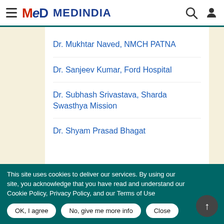MEDINDIA
Dr. Mukhtar Naved, NMCH PATNA
Dr. Sanjeev Kumar, Ford Hospital
Dr. Subhash Srivastava, Sharda Swasthya Mission
Dr. Shyam Prasad Bhagat
This site uses cookies to deliver our services. By using our site, you acknowledge that you have read and understand our Cookie Policy, Privacy Policy, and our Terms of Use